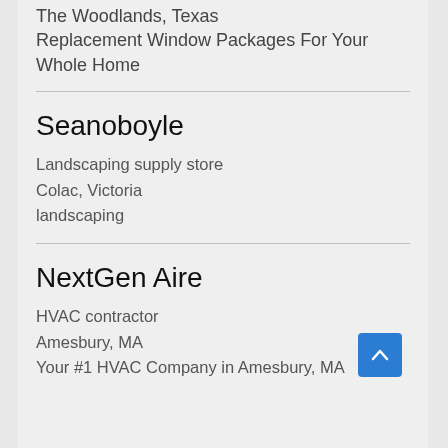The Woodlands, Texas
Replacement Window Packages For Your Whole Home
Seanoboyle
Landscaping supply store
Colac, Victoria
landscaping
NextGen Aire
HVAC contractor
Amesbury, MA
Your #1 HVAC Company in Amesbury, MA